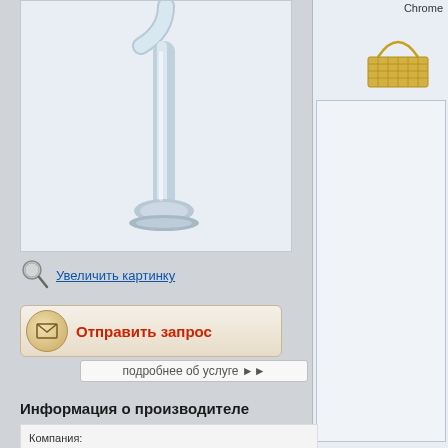[Figure (photo): Chrome bathroom faucet with tall neck on white background]
Увеличить картинку
Отправить запрос
подробнее об услуге ▶▶
Информация о производителе
Компания:
PONY SANITARY WARE INDUSTRIAL CORPORATION